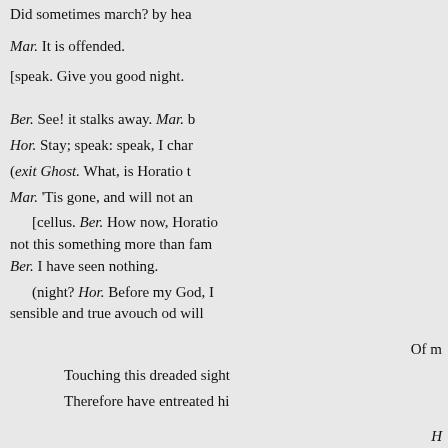Did sometimes march? by hea
Mar. It is offended.
[speak. Give you good night.
Ber. See! it stalks away. Mar. b
Hor. Stay; speak: speak, I char
(exit Ghost. What, is Horatio t
Mar. 'Tis gone, and will not an
[cellus. Ber. How now, Horatio not this something more than fam
Ber. I have seen nothing.
(night? Hor. Before my God, I sensible and true avouch od will
Of m
Touching this dreaded sight
Therefore have entreated hi
H
With us, to watch the minut
That, if again this apparition